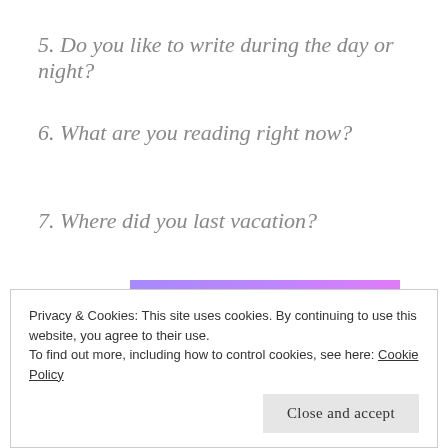5. Do you like to write during the day or night?
6. What are you reading right now?
7. Where did you last vacation?
[Figure (other): WordPress.com advertisement banner with gradient purple-pink background, text 'everything you need.' and WordPress.com logo]
REPORT THIS AD
Privacy & Cookies: This site uses cookies. By continuing to use this website, you agree to their use.
To find out more, including how to control cookies, see here: Cookie Policy
Close and accept